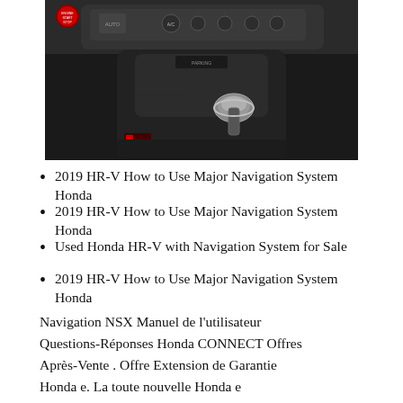[Figure (photo): Close-up photo of a Honda HR-V car interior showing the center console with gear shifter, climate control buttons, and dashboard controls against a dark background.]
2019 HR-V How to Use Major Navigation System Honda
2019 HR-V How to Use Major Navigation System Honda
Used Honda HR-V with Navigation System for Sale
2019 HR-V How to Use Major Navigation System Honda
Navigation NSX Manuel de l’utilisateur
Questions-Réponses Honda CONNECT Offres
Après-Vente . Offre Extension de Garantie
Honda e. La toute nouvelle Honda e